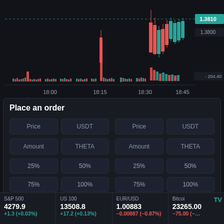[Figure (bar-chart): Dark-themed candlestick/volume chart showing THETA/USDT price around 1.3810, with price label 1.3810, 1.3800, and volume indicator 204.40. Time axis shows 18:00, 18:15, 18:30, 18:45.]
Place an order
| Price | USDT | Price | USDT |
| --- | --- | --- | --- |
| Amount | THETA | Amount | THETA |
| 25% | 50% | 25% | 50% |
| 75% | 100% | 75% | 100% |
| S&P 500 | US 100 | EUR/USD | Bitcoin |
| --- | --- | --- | --- |
| 4279.9 | 13508.8 | 1.00883 | 23265.00 |
| +1.3 (+0.03%) | +17.2 (+0.13%) | -0.00887 (-0.87%) | -75.00 (–... |